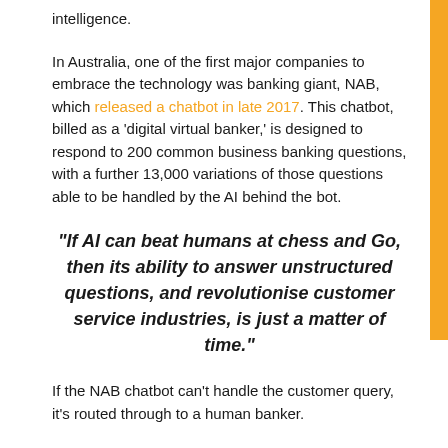intelligence.
In Australia, one of the first major companies to embrace the technology was banking giant, NAB, which released a chatbot in late 2017. This chatbot, billed as a 'digital virtual banker,' is designed to respond to 200 common business banking questions, with a further 13,000 variations of those questions able to be handled by the AI behind the bot.
“If AI can beat humans at chess and Go, then its ability to answer unstructured questions, and revolutionise customer service industries, is just a matter of time.”
If the NAB chatbot can't handle the customer query, it's routed through to a human banker.
Customer satisfaction
One of the real questions facing marketers is whether customers are happy talking to a digital agent. Marketers